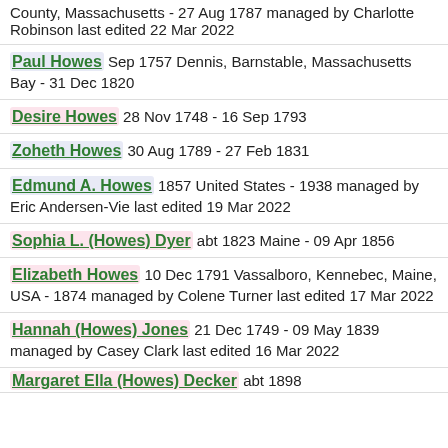County, Massachusetts - 27 Aug 1787 managed by Charlotte Robinson last edited 22 Mar 2022
Paul Howes Sep 1757 Dennis, Barnstable, Massachusetts Bay - 31 Dec 1820
Desire Howes 28 Nov 1748 - 16 Sep 1793
Zoheth Howes 30 Aug 1789 - 27 Feb 1831
Edmund A. Howes 1857 United States - 1938 managed by Eric Andersen-Vie last edited 19 Mar 2022
Sophia L. (Howes) Dyer abt 1823 Maine - 09 Apr 1856
Elizabeth Howes 10 Dec 1791 Vassalboro, Kennebec, Maine, USA - 1874 managed by Colene Turner last edited 17 Mar 2022
Hannah (Howes) Jones 21 Dec 1749 - 09 May 1839 managed by Casey Clark last edited 16 Mar 2022
Margaret Ella (Howes) Decker abt 1898...